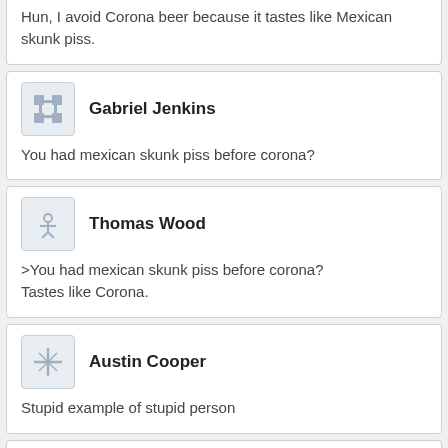Hun, I avoid Corona beer because it tastes like Mexican skunk piss.
Gabriel Jenkins
You had mexican skunk piss before corona?
Thomas Wood
>You had mexican skunk piss before corona?
Tastes like Corona.
Austin Cooper
Stupid example of stupid person
Jeremiah Anderson
that's great